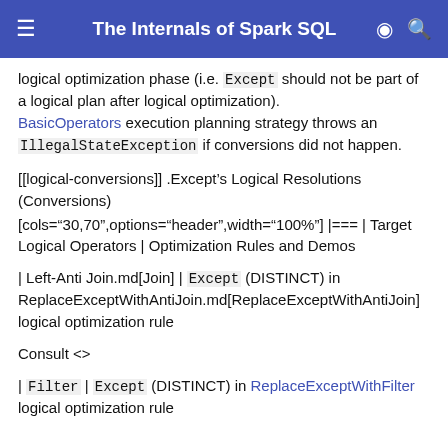The Internals of Spark SQL
logical optimization phase (i.e. Except should not be part of a logical plan after logical optimization). BasicOperators execution planning strategy throws an IllegalStateException if conversions did not happen.
[[logical-conversions]] .Except’s Logical Resolutions (Conversions)
[cols="30,70",options="header",width="100%"] |=== | Target Logical Operators | Optimization Rules and Demos
| Left-Anti Join.md[Join] | Except (DISTINCT) in ReplaceExceptWithAntiJoin.md[ReplaceExceptWithAntiJoin] logical optimization rule
Consult <>
| Filter | Except (DISTINCT) in ReplaceExceptWithFilter logical optimization rule